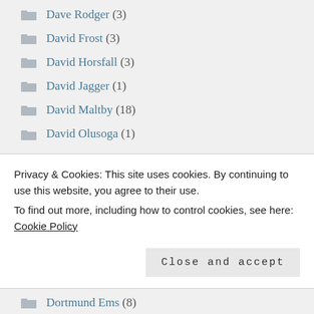Dave Rodger (3)
David Frost (3)
David Horsfall (3)
David Jagger (1)
David Maltby (18)
David Olusoga (1)
David Shannon (12)
Den Ham (6)
Dennis Powell (1)
Privacy & Cookies: This site uses cookies. By continuing to use this website, you agree to their use.
To find out more, including how to control cookies, see here: Cookie Policy
Dortmund Ems (8)